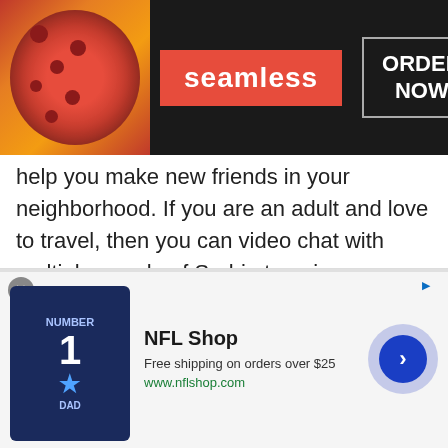[Figure (screenshot): Seamless food delivery advertisement banner with pizza image on left, red Seamless logo in center, and 'ORDER NOW' button in bordered box on right, on dark background]
help you make new friends in your neighborhood. If you are an adult and love to travel, then you can video chat with multiple people of Serbia to gain knowledge about the tourist destinations in Serbia.
Keeping in view this scenario, other genders all around the world gets to face extreme discrimination, mental and physical abuse by the locals. People regard gay or lesbian couple as a disgrace to the society. This is one of the reasons why these people are socially isolated. Nobody likes
[Figure (screenshot): NFL Shop advertisement banner with jersey image on left, shop name and free shipping info in center, and blue circular arrow button on right]